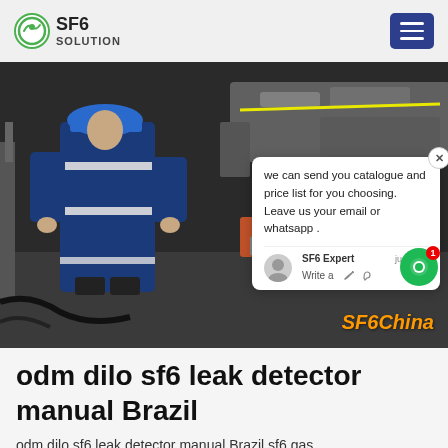SF6 SOLUTION
[Figure (photo): Worker in blue coveralls and hard hat working on industrial SF6 gas equipment indoors. Chat popup overlay visible with text: 'we can send you catalogue and price list for you choosing. Leave us your email or whatsapp .' SF6 Expert, just now. SF6China watermark in bottom right.]
odm dilo sf6 leak detector manual Brazil
odm dilo sf6 leak detector manual Brazil,sf6 gas